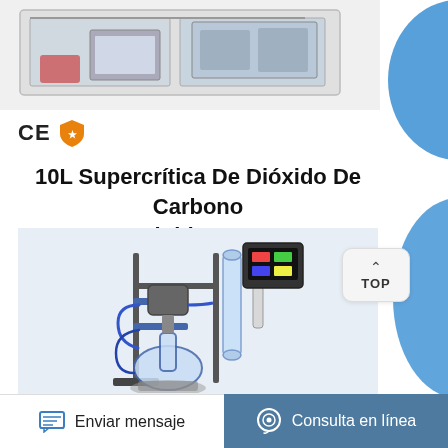[Figure (photo): Industrial supercritical CO2 extraction equipment in a cabinet, partially visible at top of page]
[Figure (logo): CE certification mark and orange shield/quality certification icon]
10L Supercrítica De Dióxido De Carbono Fluido Co2
[Figure (photo): Laboratory glass reactor apparatus with blue fittings, stands, and a control unit — supercritical CO2 fluid extraction device]
TOP
Enviar mensaje
Consulta en línea